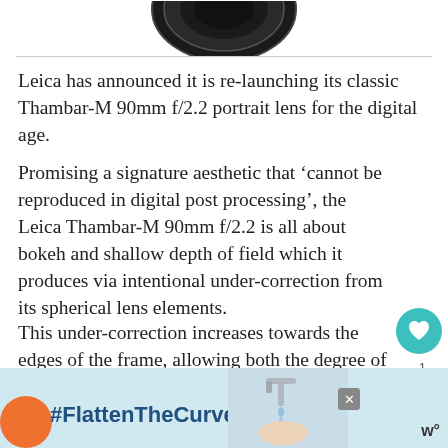[Figure (photo): Partial view of a black Leica camera lens at the top of the page, cropped]
Leica has announced it is re-launching its classic Thambar-M 90mm f/2.2 portrait lens for the digital age.
Promising a signature aesthetic that ‘cannot be reproduced in digital post processing’, the Leica Thambar-M 90mm f/2.2 is all about bokeh and shallow depth of field which it produces via intentional under-correction from its spherical lens elements.
This under-correction increases towards the edges of the frame, allowing both the degree of softening and the depth of field to be controlled by the smoothly-turning ‘stepless’
[Figure (screenshot): Advertisement banner at the bottom showing #FlattenTheCurve with an image of hands washing under a tap, with an orange circle, close button, and logo]